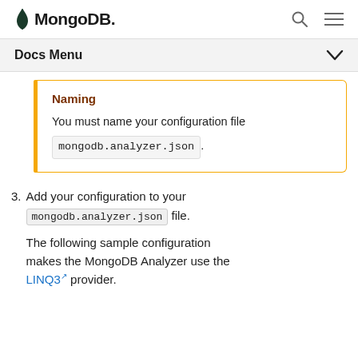MongoDB. [search] [menu]
Docs Menu ▾
Naming
You must name your configuration file mongodb.analyzer.json.
3. Add your configuration to your mongodb.analyzer.json file. The following sample configuration makes the MongoDB Analyzer use the LINQ3 provider.